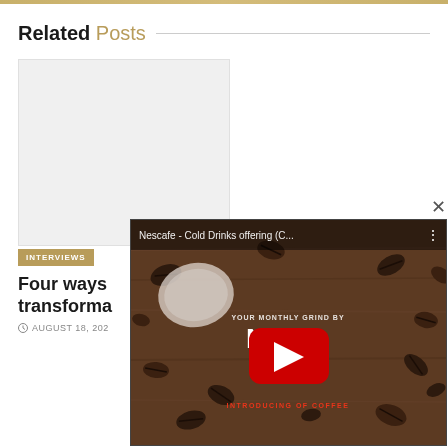Related Posts
[Figure (photo): Light gray placeholder image area for a related post thumbnail]
INTERVIEWS
Four ways transforma
AUGUST 18, 202
[Figure (screenshot): YouTube video popup overlay showing Nescafe - Cold Drinks offering (C...) with coffee beans background, YOUR MONTHLY GRIND BY NESCAFE text, red play button, and INTRODUCING OF COFFEE text in red. Has a close (x) button.]